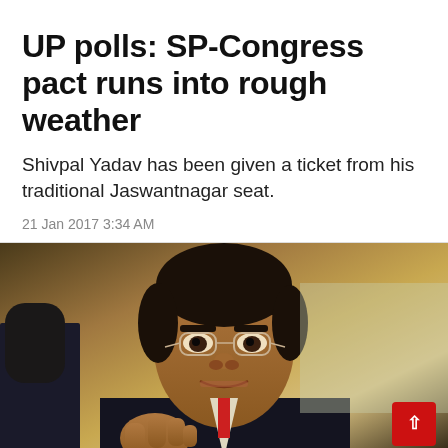UP polls: SP-Congress pact runs into rough weather
Shivpal Yadav has been given a ticket from his traditional Jaswantnagar seat.
21 Jan 2017 3:34 AM
[Figure (photo): A man in a dark suit, wearing glasses, gesturing with his hand, photographed at a press conference or official event. Background is blurred with warm tones.]